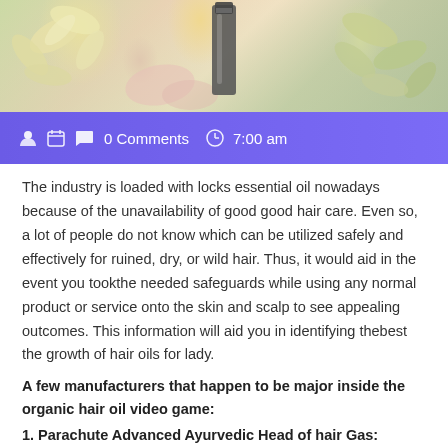[Figure (photo): Photo of flowers and a dark essential oil bottle on a light background]
0 Comments   7:00 am
The industry is loaded with locks essential oil nowadays because of the unavailability of good good hair care. Even so, a lot of people do not know which can be utilized safely and effectively for ruined, dry, or wild hair. Thus, it would aid in the event you tookthe needed safeguards while using any normal product or service onto the skin and scalp to see appealing outcomes. This information will aid you in identifying thebest the growth of hair oils for lady.
A few manufacturers that happen to be major inside the organic hair oil video game:
1. Parachute Advanced Ayurvedic Head of hair Gas:
Parachute is probably the top rated manufacturers in